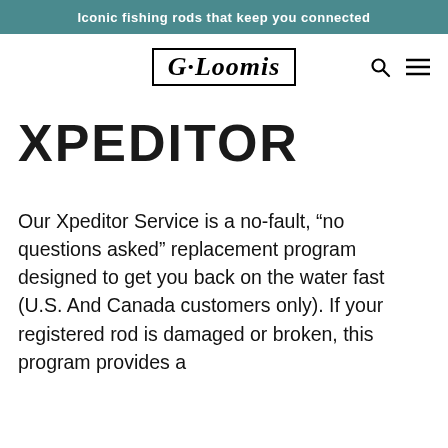Iconic fishing rods that keep you connected
[Figure (logo): G·Loomis brand logo in a rectangular border, with search and menu icons to the right]
XPEDITOR
Our Xpeditor Service is a no-fault, “no questions asked” replacement program designed to get you back on the water fast (U.S. And Canada customers only). If your registered rod is damaged or broken, this program provides a